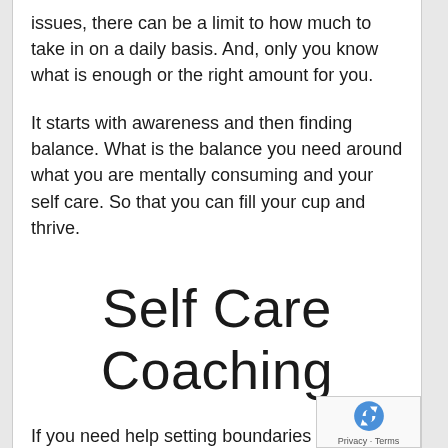issues, there can be a limit to how much to take in on a daily basis. And, only you know what is enough or the right amount for you.
It starts with awareness and then finding balance. What is the balance you need around what you are mentally consuming and your self care. So that you can fill your cup and thrive.
Self Care Coaching
If you need help setting boundaries around what messages are surrounding you, please